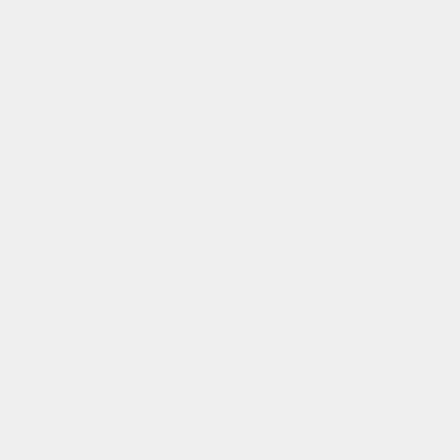_DIR%\bin;
%PATH%
TITLE Mumble Development Environment
Now create a shortcut to "C:\Windows\System32\cmd.exe /K "..\prep.cmd"" on your desktop. Edit its properties to make it